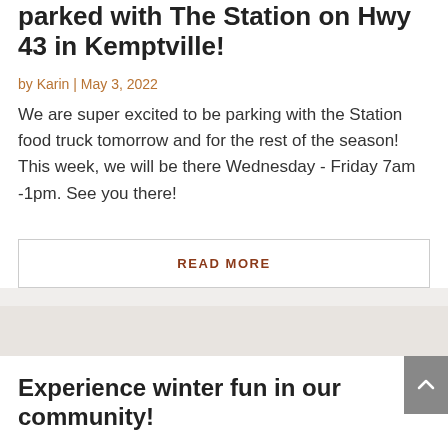parked with The Station on Hwy 43 in Kemptville!
by Karin | May 3, 2022
We are super excited to be parking with the Station food truck tomorrow and for the rest of the season! This week, we will be there Wednesday - Friday 7am -1pm. See you there!
READ MORE
Experience winter fun in our community!
by Karin | Feb 13, 2022
Today, No Go Coffee will be serving hot drinks at Curry Park from 11-3! The Kemptville Skateway is open and its a